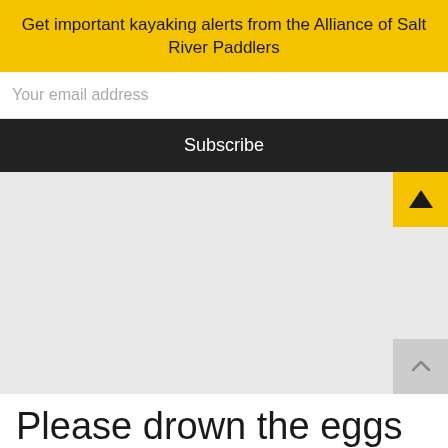Get important kayaking alerts from the Alliance of Salt River Paddlers
Your email address
Subscribe
[Figure (map): Map area shown in light gray, with a yellow triangle/arrow button in the top-right corner and a gray scroll-up button in the bottom-right corner.]
Please drown the eggs of